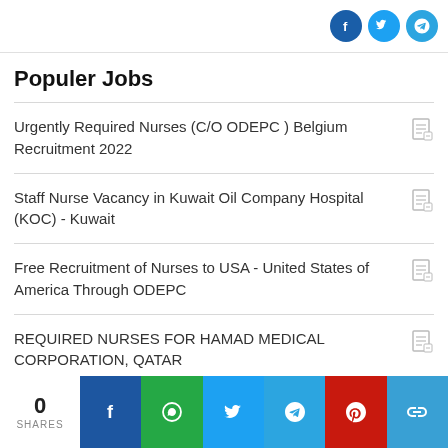[Figure (other): Social share icons: Facebook, Twitter, Telegram circles in top right]
Populer Jobs
Urgently Required Nurses (C/O ODEPC ) Belgium Recruitment 2022
Staff Nurse Vacancy in Kuwait Oil Company Hospital (KOC) - Kuwait
Free Recruitment of Nurses to USA - United States of America Through ODEPC
REQUIRED NURSES FOR HAMAD MEDICAL CORPORATION, QATAR
[Figure (other): Bottom share bar with count 0 SHARES and social share buttons: Facebook, WhatsApp, Twitter, Telegram, Pinterest, Copy link]